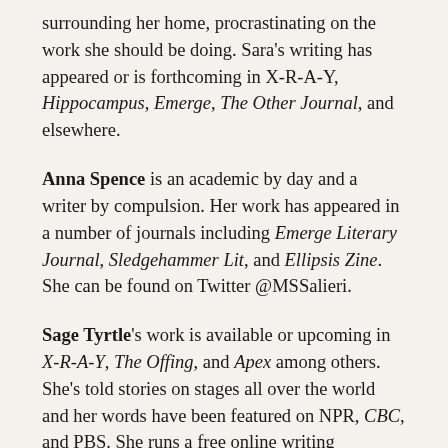surrounding her home, procrastinating on the work she should be doing. Sara's writing has appeared or is forthcoming in X-R-A-Y, Hippocampus, Emerge, The Other Journal, and elsewhere.
Anna Spence is an academic by day and a writer by compulsion. Her work has appeared in a number of journals including Emerge Literary Journal, Sledgehammer Lit, and Ellipsis Zine. She can be found on Twitter @MSSalieri.
Sage Tyrtle's work is available or upcoming in X-R-A-Y, The Offing, and Apex among others. She's told stories on stages all over the world and her words have been featured on NPR, CBC, and PBS. She runs a free online writing